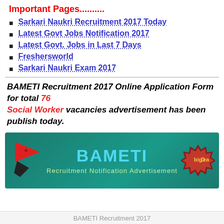Important Pages..........
Sarkari Naukri Recruitment 2017 Today
Latest Govt Jobs Notification 2017
Latest Govt. Jobs in Last 7 Days
Freshersworld
Sarkari Naukri Exam 2017
BAMETI Recruitment 2017 Online Application Form for total 76 Social Worker vacancies advertisement has been publish today.
[Figure (illustration): BAMETI Recruitment Notification Advertisement banner with teal background, logo on left, BAMETI title in cyan, subtitle in green, and a badge on the right.]
BAMETI Recruitment 2017